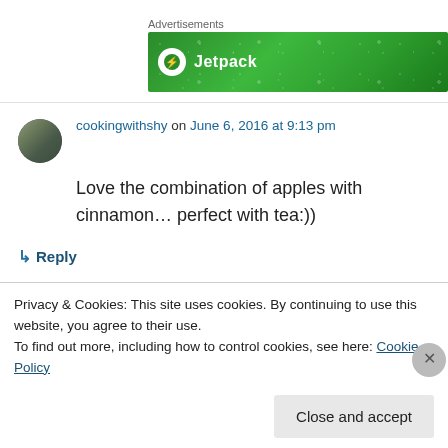Advertisements
[Figure (illustration): Green Jetpack advertisement banner with white dots/stars pattern and Jetpack logo text]
cookingwithshy on June 6, 2016 at 9:13 pm
Love the combination of apples with cinnamon… perfect with tea:))
↳ Reply
Privacy & Cookies: This site uses cookies. By continuing to use this website, you agree to their use.
To find out more, including how to control cookies, see here: Cookie Policy
Close and accept